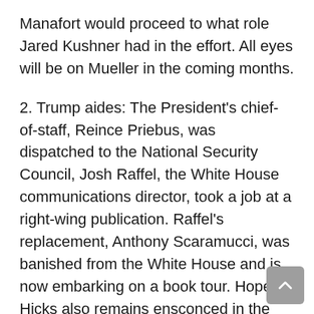Manafort would proceed to what role Jared Kushner had in the effort. All eyes will be on Mueller in the coming months.
2. Trump aides: The President's chief-of-staff, Reince Priebus, was dispatched to the National Security Council, Josh Raffel, the White House communications director, took a job at a right-wing publication. Raffel's replacement, Anthony Scaramucci, was banished from the White House and is now embarking on a book tour. Hope Hicks also remains ensconced in the same role, along with Steve Bannon, who went on the